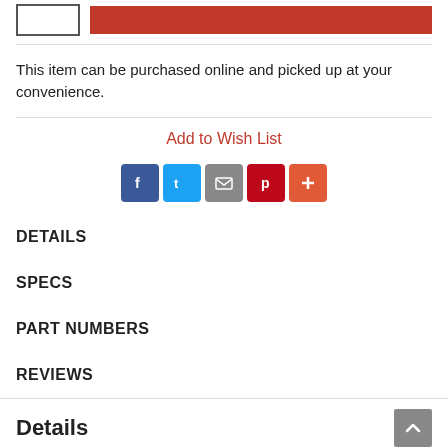[Figure (screenshot): Top bar with quantity input box and red add-to-cart button]
This item can be purchased online and picked up at your convenience.
Add to Wish List
[Figure (other): Social share icons: Facebook, Twitter, Email, Pinterest, More]
DETAILS
SPECS
PART NUMBERS
REVIEWS
Details